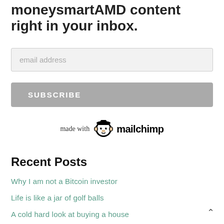moneysmartAMD content right in your inbox.
email address
SUBSCRIBE
[Figure (logo): Mailchimp logo with monkey character and text 'mailchimp', preceded by 'made with']
Recent Posts
Why I am not a Bitcoin investor
Life is like a jar of golf balls
A cold hard look at buying a house
Making good decisions in wicked environments